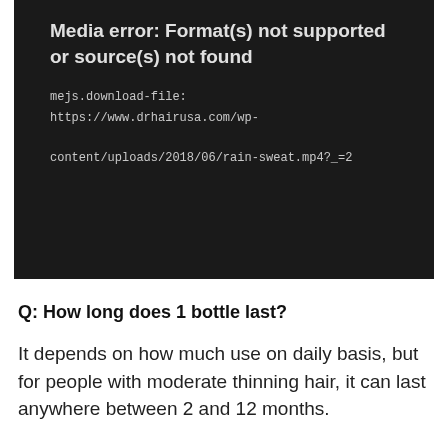[Figure (screenshot): Media player error screen with dark background showing error message: 'Media error: Format(s) not supported or source(s) not found' and URL mejs.download-file: https://www.drhairusa.com/wp-content/uploads/2018/06/rain-sweat.mp4?_=2]
Q: How long does 1 bottle last?
It depends on how much use on daily basis, but for people with moderate thinning hair, it can last anywhere between 2 and 12 months.